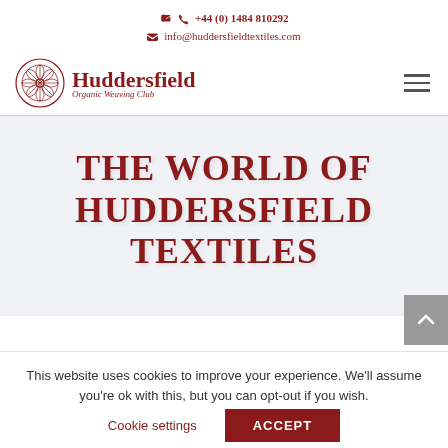+44 (0) 1484 810292
info@huddersfieldtextiles.com
[Figure (logo): Huddersfield Organic Weaving Club logo with rose/wheel emblem and text 'Huddersfield' with tagline 'Organic Weaving Club']
THE WORLD OF HUDDERSFIELD TEXTILES
This website uses cookies to improve your experience. We'll assume you're ok with this, but you can opt-out if you wish.
Cookie settings  ACCEPT